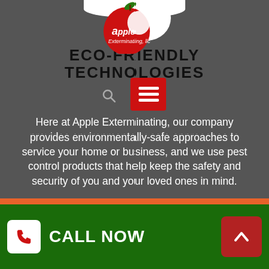[Figure (logo): Apple Exterminating LLC logo with red apple graphic and company name]
ECO-FRIENDLY TECHNOLOGIES
Here at Apple Exterminating, our company provides environmentally-safe approaches to service your home or business, and we use pest control products that help keep the safety and security of you and your loved ones in mind.
CALL NOW